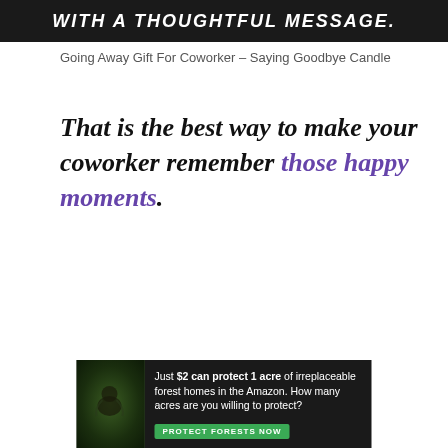[Figure (other): Dark banner with white bold italic uppercase text reading 'WITH A THOUGHTFUL MESSAGE.']
Going Away Gift For Coworker – Saying Goodbye Candle
That is the best way to make your coworker remember those happy moments.
[Figure (other): Advertisement banner: dark background with forest image on left, text 'Just $2 can protect 1 acre of irreplaceable forest homes in the Amazon. How many acres are you willing to protect?' and green 'PROTECT FORESTS NOW' button.]